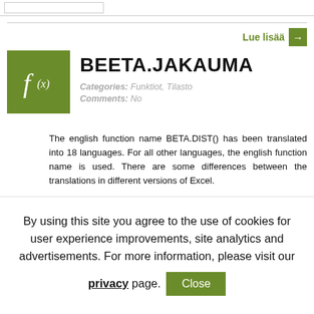BEETA.JAKAUMA
Categories: Funktiot, Tilasto
Comments: No
The english function name BETA.DIST() has been translated into 18 languages. For all other languages, the english function name is used. There are some differences between the translations in different versions of Excel.
Saatavuus
By using this site you agree to the use of cookies for user experience improvements, site analytics and advertisements. For more information, please visit our privacy page.